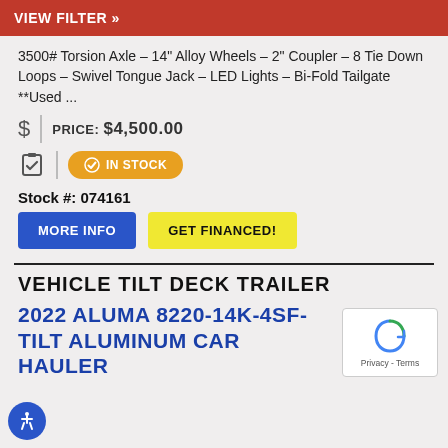VIEW FILTER »
3500# Torsion Axle – 14" Alloy Wheels – 2" Coupler – 8 Tie Down Loops – Swivel Tongue Jack – LED Lights – Bi-Fold Tailgate  **Used ...
PRICE: $4,500.00
IN STOCK
Stock #: 074161
MORE INFO
GET FINANCED!
VEHICLE TILT DECK TRAILER
2022 ALUMA 8220-14K-4SF-TILT ALUMINUM CAR HAULER